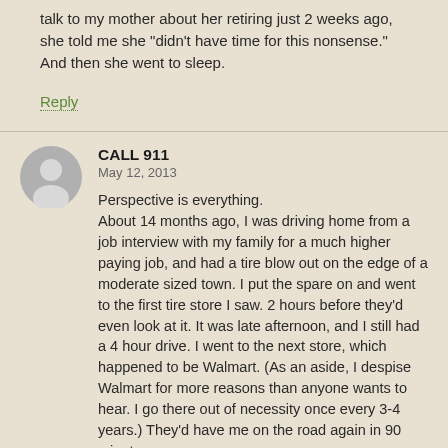talk to my mother about her retiring just 2 weeks ago, she told me she "didn't have time for this nonsense." And then she went to sleep.
Reply
CALL 911
May 12, 2013
Perspective is everything.
About 14 months ago, I was driving home from a job interview with my family for a much higher paying job, and had a tire blow out on the edge of a moderate sized town. I put the spare on and went to the first tire store I saw. 2 hours before they'd even look at it. It was late afternoon, and I still had a 4 hour drive. I went to the next store, which happened to be Walmart. (As an aside, I despise Walmart for more reasons than anyone wants to hear. I go there out of necessity once every 3-4 years.) They'd have me on the road again in 90 minutes.
I was fuming. We wanted to get home! I hate Walmart! We're all tired! What stupid rotten luck! Why today! Etc.
To pass the time, we started walking the aisles (and saw Pirate's Booty for $0.75 a bag! Score!).
While walking, I realized that my shiny, ten year old, air conditioned, power everything, paid off car was positively